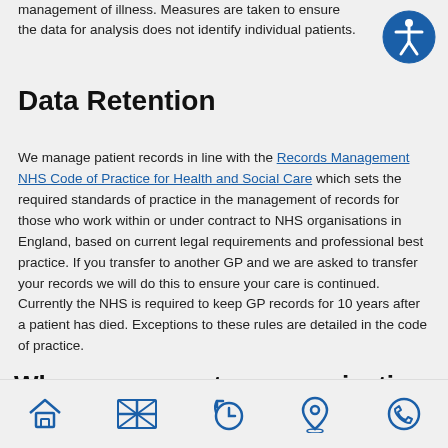management of illness. Measures are taken to ensure the data for analysis does not identify individual patients.
[Figure (illustration): Blue circular accessibility icon with a stylized person figure in white]
Data Retention
We manage patient records in line with the Records Management NHS Code of Practice for Health and Social Care which sets the required standards of practice in the management of records for those who work within or under contract to NHS organisations in England, based on current legal requirements and professional best practice. If you transfer to another GP and we are asked to transfer your records we will do this to ensure your care is continued. Currently the NHS is required to keep GP records for 10 years after a patient has died. Exceptions to these rules are detailed in the code of practice.
Who are our partner organisations?
[Figure (illustration): Bottom navigation bar with 5 blue icons: home, UK flag, history/clock, location pin, and phone]